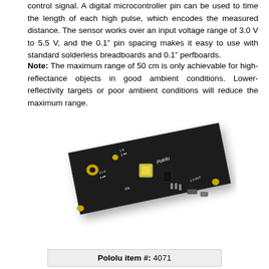control signal. A digital microcontroller pin can be used to time the length of each high pulse, which encodes the measured distance. The sensor works over an input voltage range of 3.0 V to 5.5 V, and the 0.1″ pin spacing makes it easy to use with standard solderless breadboards and 0.1″ perfboards.
Note: The maximum range of 50 cm is only achievable for high-reflectance objects in good ambient conditions. Lower-reflectivity targets or poor ambient conditions will reduce the maximum range.
[Figure (photo): Photo of a Pololu distance sensor PCB (black rectangular board with IR emitter, sensor, and labeled pins including EN, OUT, VCC, GND). The board is shown at an angle with gold pads and SMD components visible.]
Pololu item #: 4071